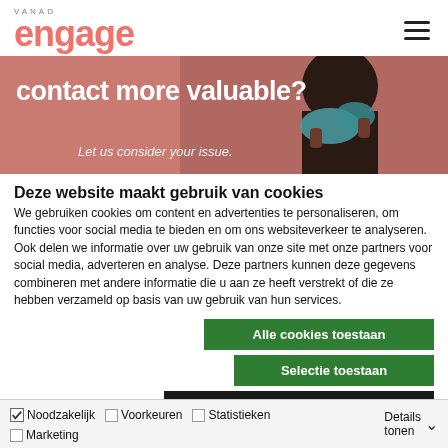VANAD engage
[Figure (photo): Promotional banner with text 'contact more valuable?' and 'Let us consider your issue.' over a pink/coral background with a person holding a teal fabric near their face.]
Deze website maakt gebruik van cookies
We gebruiken cookies om content en advertenties te personaliseren, om functies voor social media te bieden en om ons websiteverkeer te analyseren. Ook delen we informatie over uw gebruik van onze site met onze partners voor social media, adverteren en analyse. Deze partners kunnen deze gegevens combineren met andere informatie die u aan ze heeft verstrekt of die ze hebben verzameld op basis van uw gebruik van hun services.
Alle cookies toestaan
Selectie toestaan
Alleen noodzakelijke cookies
Noodzakelijk  Voorkeuren  Statistieken  Marketing  Details tonen